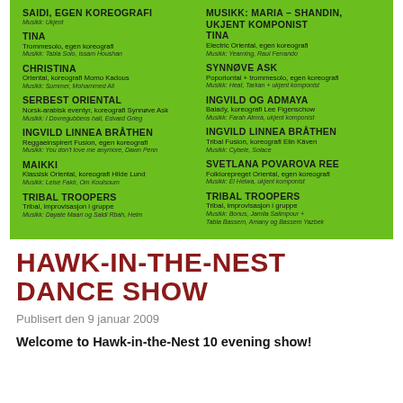[Figure (infographic): Green panel with two-column list of dance show performers, their styles, choreographers, and music credits]
HAWK-IN-THE-NEST DANCE SHOW
Publisert den 9 januar 2009
Welcome to Hawk-in-the-Nest 10 evening show!